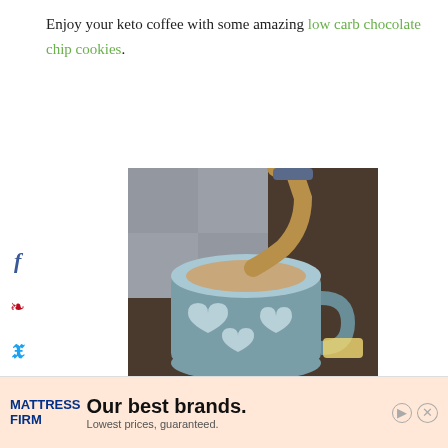Enjoy your keto coffee with some amazing low carb chocolate chip cookies.
[Figure (photo): A light blue ceramic mug with heart decorations being filled with creamy coffee poured from a blender. A pat of butter is visible on the side. Photo appears to be for a bulletproof keto butter coffee recipe.]
How to Make Bulletproof Coffee at Home? Keto Butter Coffee Recipe
[Figure (screenshot): Advertisement banner for Mattress Firm reading 'Our best brands. Lowest prices, guaranteed.' with play and close buttons.]